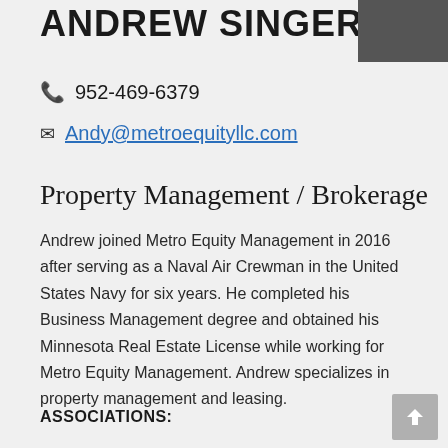ANDREW SINGER
952-469-6379
Andy@metroequityllc.com
Property Management / Brokerage
Andrew joined Metro Equity Management in 2016 after serving as a Naval Air Crewman in the United States Navy for six years. He completed his Business Management degree and obtained his Minnesota Real Estate License while working for Metro Equity Management. Andrew specializes in property management and leasing.
ASSOCIATIONS: